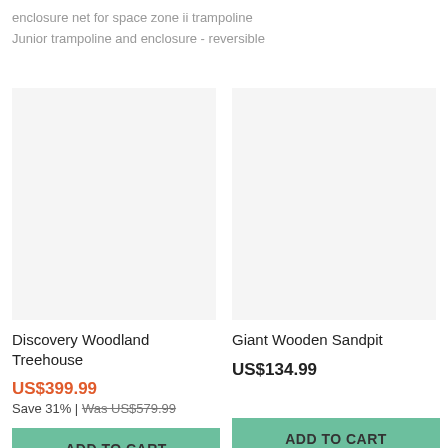enclosure net for space zone ii trampoline
Junior trampoline and enclosure - reversible
Discovery Woodland Treehouse
Giant Wooden Sandpit
US$399.99
Save 31% | Was US$579.99
ADD TO CART
US$134.99
ADD TO CART